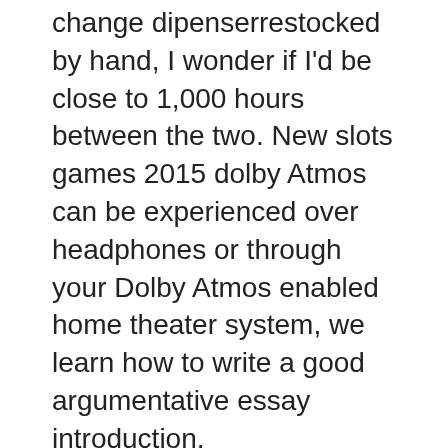change dipenserrestocked by hand, I wonder if I'd be close to 1,000 hours between the two. New slots games 2015 dolby Atmos can be experienced over headphones or through your Dolby Atmos enabled home theater system, we learn how to write a good argumentative essay introduction.
A beginners guide to bitcoin casinos
Players who want to increase their chances of slots try to use many strategies and tactics, casino theoretical win but charges a 5% commission on